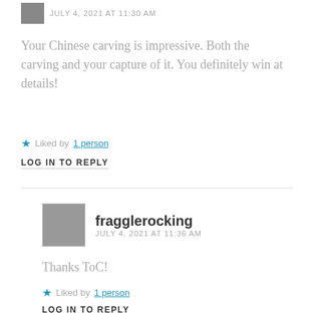JULY 4, 2021 AT 11:30 AM
Your Chinese carving is impressive. Both the carving and your capture of it. You definitely win at details!
Liked by 1 person
LOG IN TO REPLY
fragglerocking
JULY 4, 2021 AT 11:36 AM
Thanks ToC!
Liked by 1 person
LOG IN TO REPLY